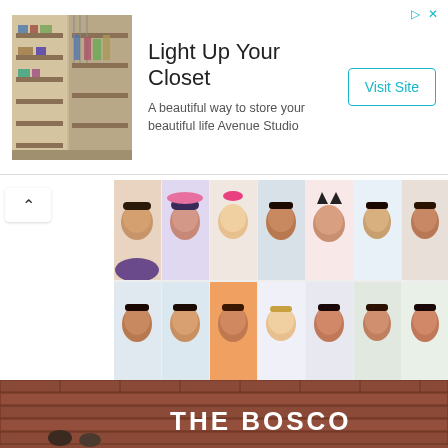[Figure (screenshot): Advertisement banner for 'Light Up Your Closet' by Avenue Studio featuring a closet photo on the left, title and subtitle text in the center, and a 'Visit Site' button on the right with ad icons in top right corner.]
[Figure (photo): Grid of 21 portrait photos of children and adults arranged in 3 rows of 7, victims of the Uvalde, Texas school shooting.]
Jorge Ramos: Los niños de Uvalde
UVALDE, Texas — "¿Cómo puedes ver a esta niña y dispararle?", se preguntaba en una entrevista con CNN, Angel Garza, asistente médico y papá de
[Figure (photo): Bottom portion of an image showing people in front of a brick building with THE BOSCO signage visible.]